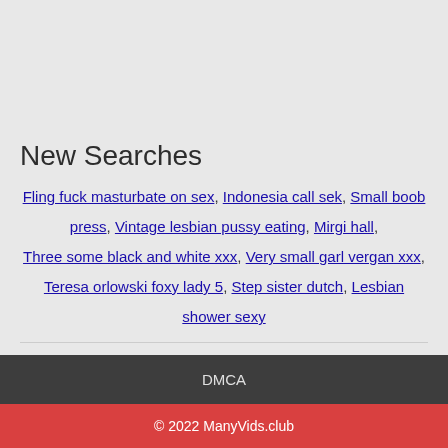New Searches
Fling fuck masturbate on sex, Indonesia call sek, Small boob press, Vintage lesbian pussy eating, Mirgi hall, Three some black and white xxx, Very small garl vergan xxx, Teresa orlowski foxy lady 5, Step sister dutch, Lesbian shower sexy
DMCA
© 2022 ManyVids.club